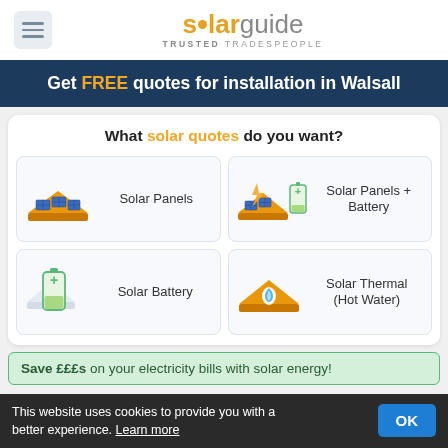[Figure (logo): SolarGuide logo with hamburger menu icon and tagline TRUSTED TRADESPEOPLE]
Get FREE quotes for installation in Walsall
What solar quotes do you want?
Solar Panels
Solar Panels + Battery
Solar Battery
Solar Thermal (Hot Water)
Save £££s on your electricity bills with solar energy!
This website uses cookies to provide you with a better experience. Learn more